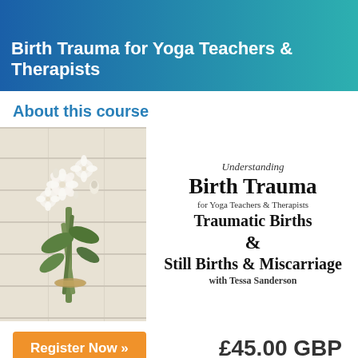Birth Trauma for Yoga Teachers & Therapists
About this course
[Figure (photo): Bouquet of white flowers tied with twine lying on a white wooden surface]
Understanding Birth Trauma for Yoga Teachers & Therapists Traumatic Births & Still Births & Miscarriage with Tessa Sanderson
Register Now »
£45.00 GBP